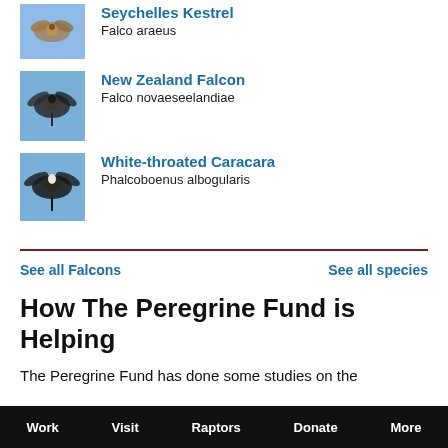Seychelles Kestrel
Falco araeus
New Zealand Falcon
Falco novaeseelandiae
White-throated Caracara
Phalcoboenus albogularis
See all Falcons
See all species
How The Peregrine Fund is Helping
The Peregrine Fund has done some studies on the
Work   Visit   Raptors   Donate   More